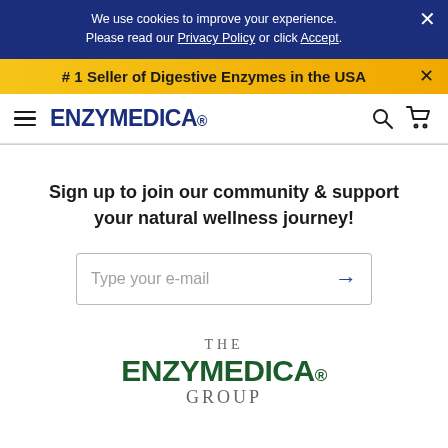We use cookies to improve your experience. Please read our Privacy Policy or click Accept.
# 1 Seller of Digestive Enzymes in the USA
[Figure (logo): Enzymedica logo with hamburger menu, search and cart icons]
Sign up to join our community & support your natural wellness journey!
[Figure (screenshot): Email input field with placeholder 'Type your e-mail' and arrow button]
[Figure (logo): THE ENZYMEDICA GROUP logo in green and grey text]